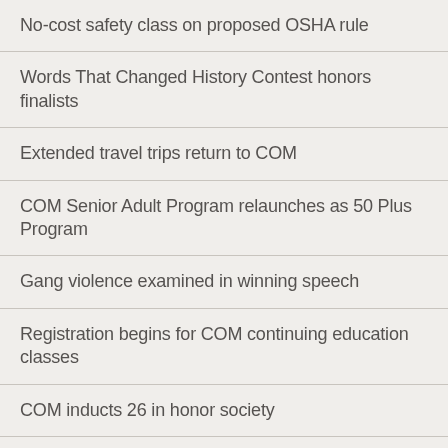No-cost safety class on proposed OSHA rule
Words That Changed History Contest honors finalists
Extended travel trips return to COM
COM Senior Adult Program relaunches as 50 Plus Program
Gang violence examined in winning speech
Registration begins for COM continuing education classes
COM inducts 26 in honor society
Celebrate the season with free COM concerts
Opposites collide in pieces winning best in show at